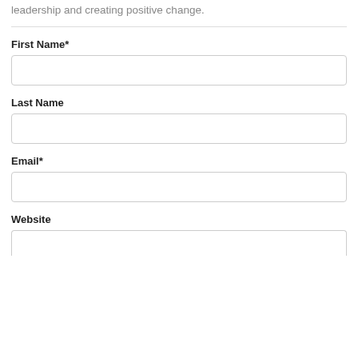leadership and creating positive change.
First Name*
Last Name
Email*
Website